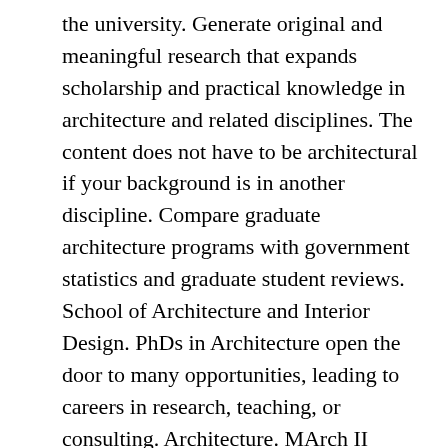the university. Generate original and meaningful research that expands scholarship and practical knowledge in architecture and related disciplines. The content does not have to be architectural if your background is in another discipline. Compare graduate architecture programs with government statistics and graduate student reviews. School of Architecture and Interior Design. PhDs in Architecture open the door to many opportunities, leading to careers in research, teaching, or consulting. Architecture. MArch II Master in Architecture II Major Map Versions: The laboratory is a host laboratory for four doctoral schools: Systems (ED 309 EdSys) whose specialties cover automatics, industrial engineering, computer science, robotics, and embedded systems. Some projects may also provide scope for you to propose your own ideas and approaches. With faculty members with technical expertise in human and